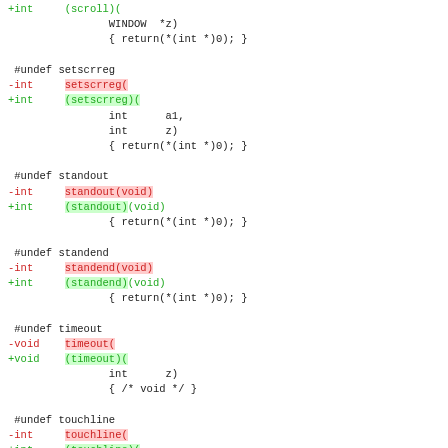diff code block showing curses-style function declarations with setscrreg, standout, standend, timeout, touchline macros using #undef and function pointer style replacements
[Figure (screenshot): Code diff showing function declarations with red (removed) and green (added) lines for setscrreg, standout, standend, timeout, touchline functions]